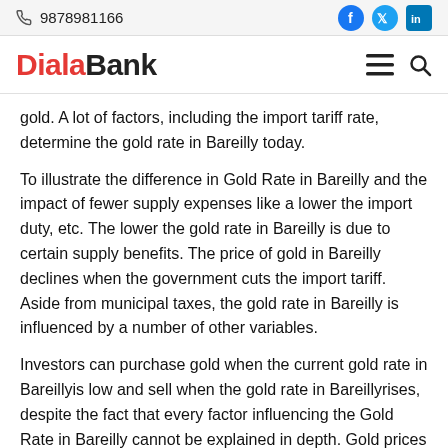9878981166
DialaBank
gold. A lot of factors, including the import tariff rate, determine the gold rate in Bareilly today.
To illustrate the difference in Gold Rate in Bareilly and the impact of fewer supply expenses like a lower the import duty, etc. The lower the gold rate in Bareilly is due to certain supply benefits. The price of gold in Bareilly declines when the government cuts the import tariff. Aside from municipal taxes, the gold rate in Bareilly is influenced by a number of other variables.
Investors can purchase gold when the current gold rate in Bareillyis low and sell when the gold rate in Bareillyrises, despite the fact that every factor influencing the Gold Rate in Bareilly cannot be explained in depth. Gold prices in Bareilly, on the other hand, have been extremely volatile, with further volatility expected as policy in numerous countries remains unstable.